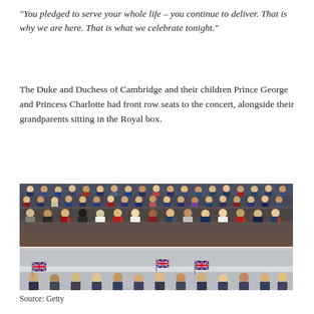“You pledged to serve your whole life – you continue to deliver. That is why we are here. That is what we celebrate tonight.”
The Duke and Duchess of Cambridge and their children Prince George and Princess Charlotte had front row seats to the concert, alongside their grandparents sitting in the Royal box.
[Figure (photo): A large crowd seated in what appears to be a Royal box or concert venue seating area. The upper portion shows many rows of formally dressed attendees. The lower portion shows audience members waving small Union Jack flags.]
Source: Getty